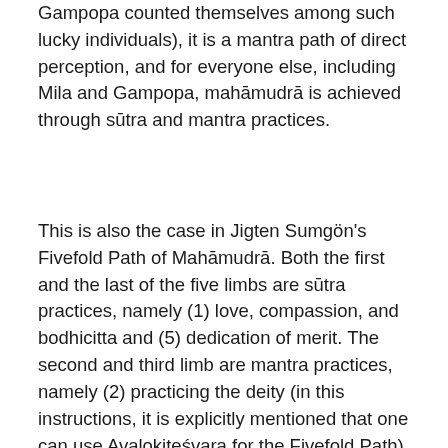Gampopa counted themselves among such lucky individuals), it is a mantra path of direct perception, and for everyone else, including Mila and Gampopa, mahāmudrā is achieved through sūtra and mantra practices.
This is also the case in Jigten Sumgön's Fivefold Path of Mahāmudrā. Both the first and the last of the five limbs are sūtra practices, namely (1) love, compassion, and bodhicitta and (5) dedication of merit. The second and third limb are mantra practices, namely (2) practicing the deity (in this instructions, it is explicitly mentioned that one can use Avalokiteśvara for the Fivefold Path) and (3) practicing the guru in one's heart, or, at the time of death, at the crown of your head. Having practiced the first three limbs, one dwells within one's clear awareness without thoughts, which is the practice of mahāmudrā, embedded in practices of sūtra and mantra. Dwelling in that state,